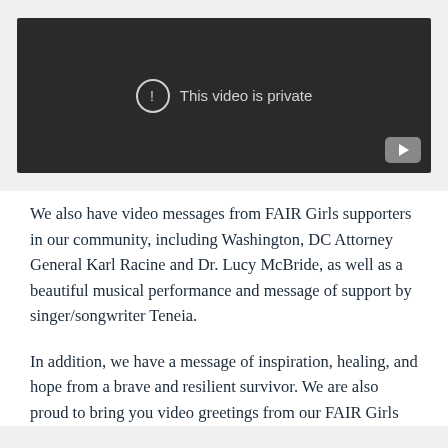[Figure (screenshot): A YouTube video embed showing a private video message. The video player has a dark background with a circle-exclamation icon and the text 'This video is private'. A YouTube play button icon appears in the bottom-right corner.]
We also have video messages from FAIR Girls supporters in our community, including Washington, DC Attorney General Karl Racine and Dr. Lucy McBride, as well as a beautiful musical performance and message of support by singer/songwriter Teneia.
In addition, we have a message of inspiration, healing, and hope from a brave and resilient survivor. We are also proud to bring you video greetings from our FAIR Girls